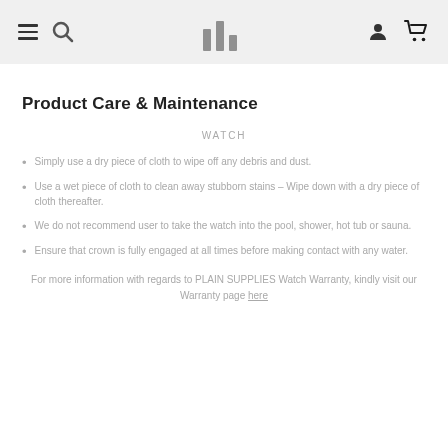Navigation bar with hamburger menu, search, logo, user and cart icons
Product Care & Maintenance
WATCH
Simply use a dry piece of cloth to wipe off any debris and dust.
Use a wet piece of cloth to clean away stubborn stains – Wipe down with a dry piece of cloth thereafter.
We do not recommend user to take the watch into the pool, shower, hot tub or sauna.
Ensure that crown is fully engaged at all times before making contact with any water.
For more information with regards to PLAIN SUPPLIES Watch Warranty, kindly visit our Warranty page here